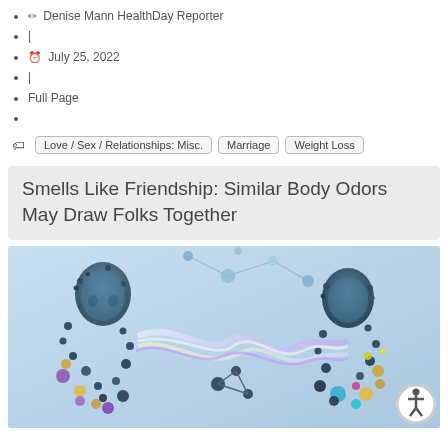✏ Denise Mann HealthDay Reporter
|
🕐 July 25, 2022
|
Full Page
🏷 Love / Sex / Relationships: Misc.   Marriage   Weight Loss
Smells Like Friendship: Similar Body Odors May Draw Folks Together
[Figure (illustration): Digital art showing two blue humanoid figures made of particles facing each other, with colorful molecule structures and swirling light/scent trails between them, on a light blue background. An accessibility icon button is visible in bottom right corner.]